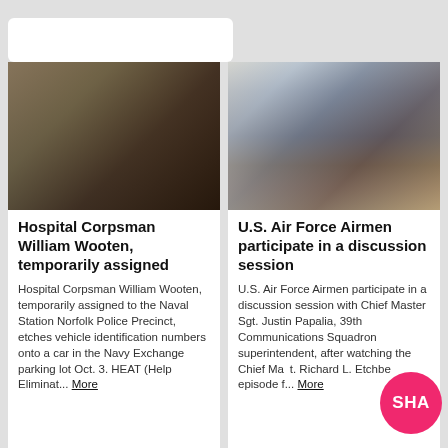[Figure (photo): Photo of Hospital Corpsman William Wooten working on a vehicle, blurred close-up]
[Figure (photo): Photo of U.S. Air Force Airmen participating in a discussion session, audience viewed from behind with a screen visible]
Hospital Corpsman William Wooten, temporarily assigned
Hospital Corpsman William Wooten, temporarily assigned to the Naval Station Norfolk Police Precinct, etches vehicle identification numbers onto a car in the Navy Exchange parking lot Oct. 3. HEAT (Help Eliminat... More
U.S. Air Force Airmen participate in a discussion session
U.S. Air Force Airmen participate in a discussion session with Chief Master Sgt. Justin Papalia, 39th Communications Squadron superintendent, after watching the Chief Master Sgt. Richard L. Etchberger episode f... More